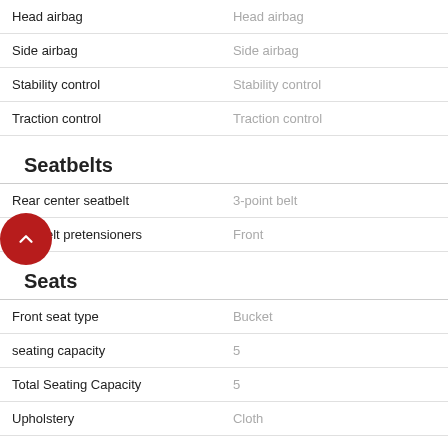| Feature | Value |
| --- | --- |
| Head airbag | Head airbag |
| Side airbag | Side airbag |
| Stability control | Stability control |
| Traction control | Traction control |
Seatbelts
| Feature | Value |
| --- | --- |
| Rear center seatbelt | 3-point belt |
| Seatbelt pretensioners | Front |
Seats
| Feature | Value |
| --- | --- |
| Front seat type | Bucket |
| seating capacity | 5 |
| Total Seating Capacity | 5 |
| Upholstery | Cloth |
Security
| Feature | Value |
| --- | --- |
| engine immobilizer | Engine immobilizer |